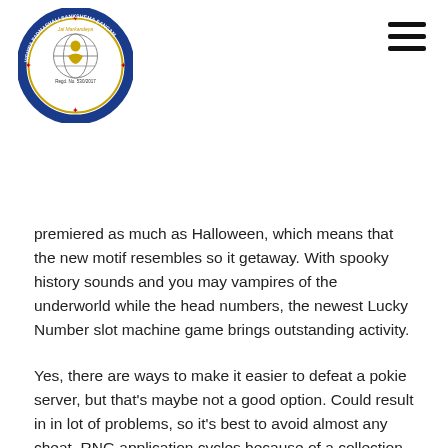[Figure (logo): Vishwa Padmashali Sankshema Sangam circular logo with globe and seated figure, text reading Jai Markandeya, Regd. No. 530/2017, Telangan, India]
premiered as much as Halloween, which means that the new motif resembles so it getaway. With spooky history sounds and you may vampires of the underworld while the head numbers, the newest Lucky Number slot machine game brings outstanding activity.
Yes, there are ways to make it easier to defeat a pokie server, but that's maybe not a good option. Could result in in lot of problems, so it's best to avoid almost any cheat. RNG application cycles because of a collection of amounts to help make a good sequence shown when the reels come to a stop.
There's slightly a fascinating ability that may delight players. Such as, Bonus Video game, have been in many different variations and give you a chance so you can victory more money by to play the newest function video game. Don't forget you to definitely extra also offers and needs for such as incentives differ from a single on the web position to some other.